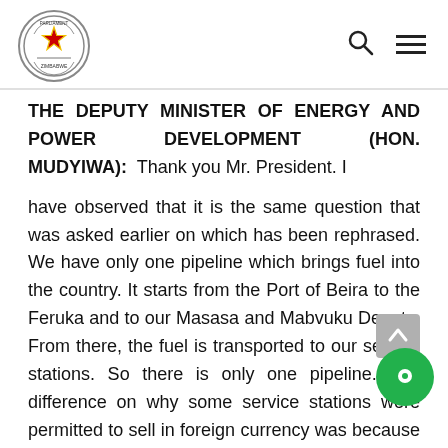Parliament of Zimbabwe header with logo, search icon, and menu icon
THE DEPUTY MINISTER OF ENERGY AND POWER DEVELOPMENT (HON. MUDYIWA): Thank you Mr. President. I have observed that it is the same question that was asked earlier on which has been rephrased. We have only one pipeline which brings fuel into the country. It starts from the Port of Beira to the Feruka and to our Masasa and Mabvuku Depots. From there, the fuel is transported to our service stations. So there is only one pipeline. The difference on why some service stations were permitted to sell in foreign currency was because it was found that some organisations or people like the diplomats or guests of the State have the foreign currency and pay